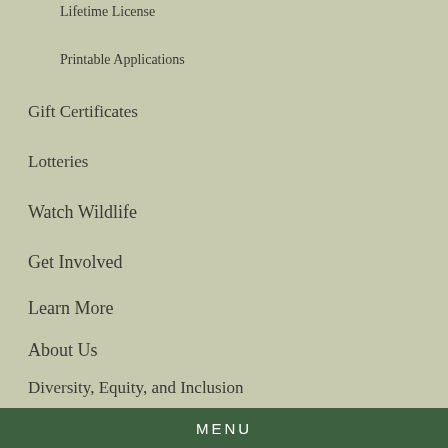Lifetime License
Printable Applications
Gift Certificates
Lotteries
Watch Wildlife
Get Involved
Learn More
About Us
Diversity, Equity, and Inclusion
Contact
MENU